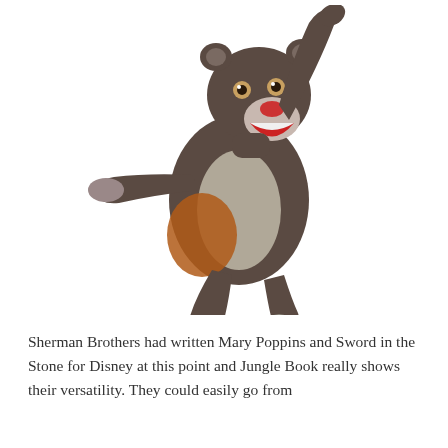[Figure (illustration): Cartoon illustration of Baloo the bear from The Jungle Book, dancing with one arm raised up and the other extended outward, depicted in dark grey/brown colors with a lighter belly, open mouth showing red interior, on a white background.]
Sherman Brothers had written Mary Poppins and Sword in the Stone for Disney at this point and Jungle Book really shows their versatility. They could easily go from